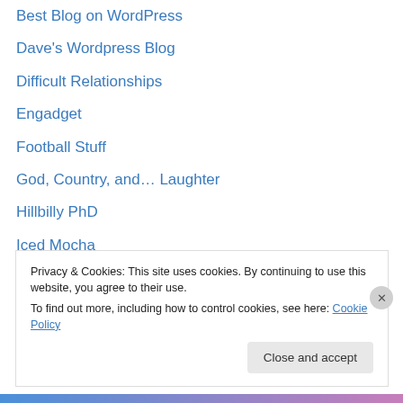Best Blog on WordPress
Dave's Wordpress Blog
Difficult Relationships
Engadget
Football Stuff
God, Country, and… Laughter
Hillbilly PhD
Iced Mocha
John Law
Licensed to Blog
Living On A Wire
more than the sum of my parts
My life as a Christian
Privacy & Cookies: This site uses cookies. By continuing to use this website, you agree to their use.
To find out more, including how to control cookies, see here: Cookie Policy
Close and accept